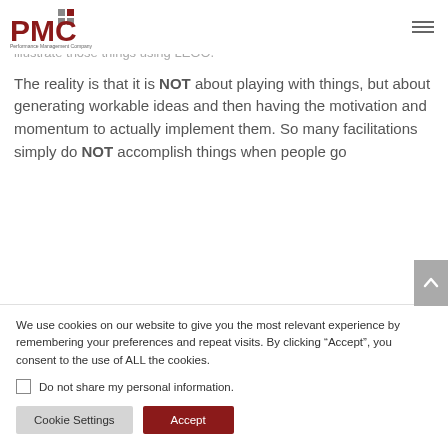[Figure (logo): PMC Performance Management Company logo with red text and grey/red square dots]
I also use the Square Wheels metaphor about how things at work, with the idea that the Round Wheels are already in the wagon. These days, I illustrate those things using LEGO.
The reality is that it is NOT about playing with things, but about generating workable ideas and then having the motivation and momentum to actually implement them. So many facilitations simply do NOT accomplish things when people go
We use cookies on our website to give you the most relevant experience by remembering your preferences and repeat visits. By clicking “Accept”, you consent to the use of ALL the cookies.
Do not share my personal information.